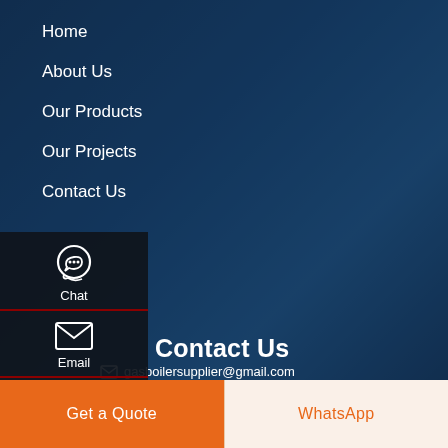Home
About Us
Our Products
Our Projects
Contact Us
[Figure (screenshot): Side floating widget panel with Chat, Email, Contact icons and up-arrow, on dark semi-transparent background]
Contact Us
gasboilersupplier@gmail.com
0086-371-55629010
Get a Quote
WhatsApp